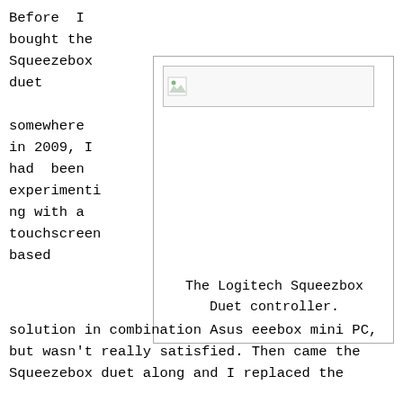Before I bought the Squeezebox duet somewhere in 2009, I had been experimenting with a touchscreen based
[Figure (illustration): A bordered figure box showing a broken/placeholder image icon at the top and the caption 'The Logitech Squeezbox Duet controller.' at the bottom.]
The Logitech Squeezbox Duet controller.
solution in combination Asus eeebox mini PC, but wasn't really satisfied. Then came the Squeezebox duet along and I replaced the